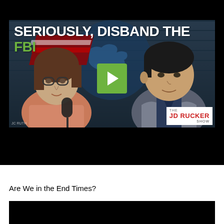[Figure (screenshot): Video thumbnail showing two people (a woman with glasses on the left in a pink top, and a man in a suit on the right) in a broadcast studio setting. Large bold text overlay reads 'SERIOUSLY, DISBAND THE FBI' with FBI in green. A green play button is centered on the image. JD Rucker Show logo in bottom right.]
Are We in the End Times?
[Figure (screenshot): Black thumbnail/preview of a second video at the bottom of the page.]